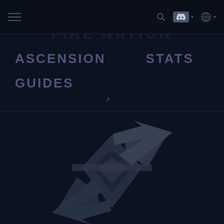Navigation bar with hamburger menu, search, Discord, and globe/language icons
ASCENSION
STATS
GUIDES
[Figure (logo): Large geometric diamond/cross emblem logo watermark in dark grayish-blue tones, resembling crossed swords or arrows in a symmetrical pattern]